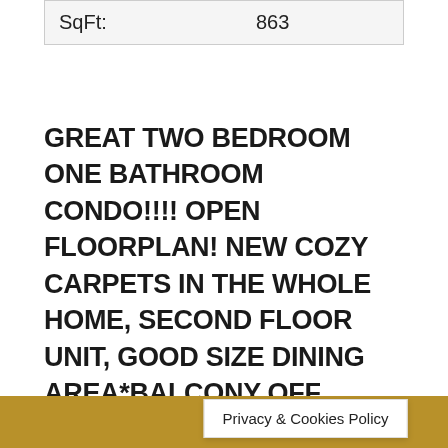| SqFt: | 863 |
GREAT TWO BEDROOM ONE BATHROOM CONDO!!!! OPEN FLOORPLAN! NEW COZY CARPETS IN THE WHOLE HOME, SECOND FLOOR UNIT, GOOD SIZE DINING AREA*BALCONY OFF LIVING ROOM*A LOT OF COMMUNITY AMENITIES, THREE POOLS, BBQ AREA*AT WALKING DISTANCE TO ALL OF THE NEIGHBORHOOD'S AMENITIES*JUST MINUTES THE THE STRIP*
Phot...
Privacy & Cookies Policy